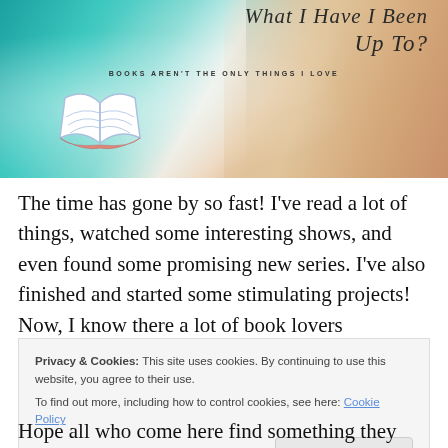[Figure (illustration): Blog banner image with ocean waves and sandy beach aerial view, featuring an open book icon overlay and cursive text 'What Have I Been Up To?' with subtitle 'BOOKS AREN'T THE ONLY THINGS I LOVE']
The time has gone by so fast! I've read a lot of things, watched some interesting shows, and even found some promising new series. I've also finished and started some stimulating projects! Now, I know there a lot of book lovers
Privacy & Cookies: This site uses cookies. By continuing to use this website, you agree to their use.
To find out more, including how to control cookies, see here: Cookie Policy
Close and accept
Hope all who come here find something they can identify